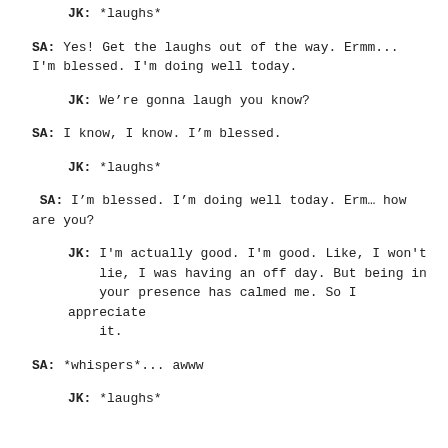JK: *laughs*
SA: Yes! Get the laughs out of the way. Ermm... I'm blessed. I'm doing well today.
JK: We're gonna laugh you know?
SA: I know, I know. I'm blessed.
JK: *laughs*
SA: I'm blessed. I'm doing well today. Erm… how are you?
JK: I'm actually good. I'm good. Like, I won't lie, I was having an off day. But being in your presence has calmed me. So I appreciate it.
SA: *whispers*... awww
JK: *laughs*